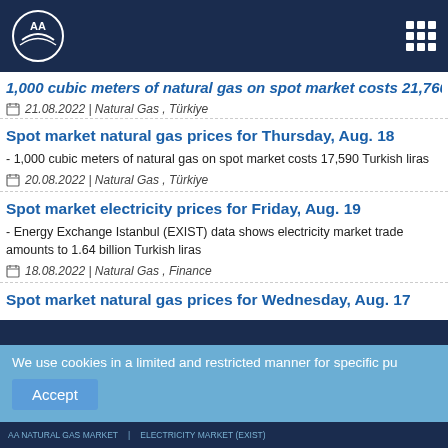AA (Anadolu Agency) logo and navigation
1,000 cubic meters of natural gas on spot market costs 21,760 Turkish liras
21.08.2022 | Natural Gas , Türkiye
Spot market natural gas prices for Thursday, Aug. 18
- 1,000 cubic meters of natural gas on spot market costs 17,590 Turkish liras
20.08.2022 | Natural Gas , Türkiye
Spot market electricity prices for Friday, Aug. 19
- Energy Exchange Istanbul (EXIST) data shows electricity market trade amounts to 1.64 billion Turkish liras
18.08.2022 | Natural Gas , Finance
Spot market natural gas prices for Wednesday, Aug. 17
We use cookies in a limited and restricted manner for specific pu
Accept